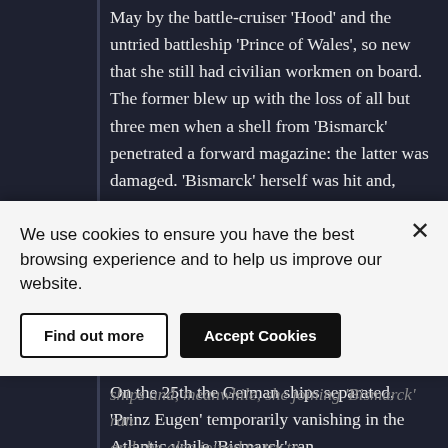May by the battle-cruiser 'Hood' and the untried battleship 'Prince of Wales', so new that she still had civilian workmen on board. The former blew up with the loss of all but three men when a shell from 'Bismarck' penetrated a forward magazine: the latter was damaged. 'Bismarck' herself was hit and, critically, lost access to 1000 tons of fuel oil stored in a forward tank. That evening an air strike from the carrier 'Victorious' - the first-ever by carrier-borne aircraft against a capital ship in mid-ocean - scored one torpedo hit amidships on her but did no damage.
On the 25th the German ships separated, 'Prinz Eugen' temporarily vanishing in the Atlantic while 'Bismarck' ran
We use cookies to ensure you have the best browsing experience and to help us improve our website.
Find out more
Accept Cookies